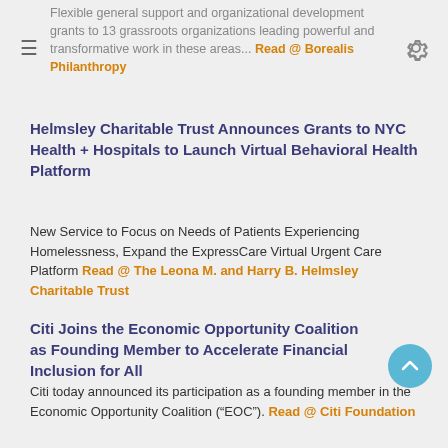Flexible general support and organizational development grants to 13 grassroots organizations leading powerful and transformative work in these areas... Read @ Borealis Philanthropy
Helmsley Charitable Trust Announces Grants to NYC Health + Hospitals to Launch Virtual Behavioral Health Platform
New Service to Focus on Needs of Patients Experiencing Homelessness, Expand the ExpressCare Virtual Urgent Care Platform Read @ The Leona M. and Harry B. Helmsley Charitable Trust
Citi Joins the Economic Opportunity Coalition as Founding Member to Accelerate Financial Inclusion for All
Citi today announced its participation as a founding member in the Economic Opportunity Coalition (“EOC”). Read @ Citi Foundation